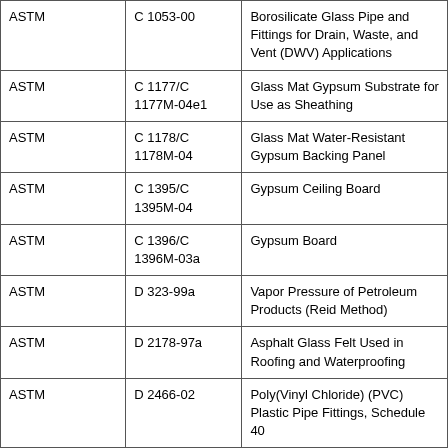| ASTM | C 1053-00 | Borosilicate Glass Pipe and Fittings for Drain, Waste, and Vent (DWV) Applications |
| ASTM | C 1177/C 1177M-04e1 | Glass Mat Gypsum Substrate for Use as Sheathing |
| ASTM | C 1178/C 1178M-04 | Glass Mat Water-Resistant Gypsum Backing Panel |
| ASTM | C 1395/C 1395M-04 | Gypsum Ceiling Board |
| ASTM | C 1396/C 1396M-03a | Gypsum Board |
| ASTM | D 323-99a | Vapor Pressure of Petroleum Products (Reid Method) |
| ASTM | D 2178-97a | Asphalt Glass Felt Used in Roofing and Waterproofing |
| ASTM | D 2466-02 | Poly(Vinyl Chloride) (PVC) Plastic Pipe Fittings, Schedule 40 |
| ASTM | D 2467-02 | Poly(Vinyl Chloride) (PVC) Plastic Pipe Fittings, Schedule 80 |